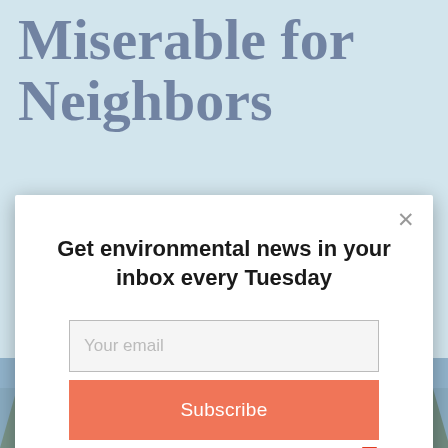Miserable for Neighbors
[Figure (screenshot): Email newsletter subscription modal overlay with title 'Get environmental news in your inbox every Tuesday', an email input field with placeholder 'Your email', and a salmon-colored Subscribe button. Modal has an X close button in the top right. Bottom shows an AddThis badge.]